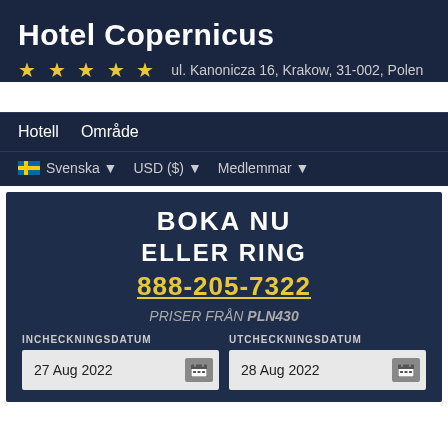Hotel Copernicus
★ ★ ★ ★ ★   ul. Kanonicza 16, Krakow, 31-002, Polen
Hotell   Område
🇸🇪 Svenska ▼   USD ($) ▼   Medlemmar ▼
BOKA NU
ELLER RING
888-205-7322
PRISER FRÅN PLN430
INCHECKNINGSDATUM
27 Aug 2022
UTCHECKNINGSDATUM
28 Aug 2022